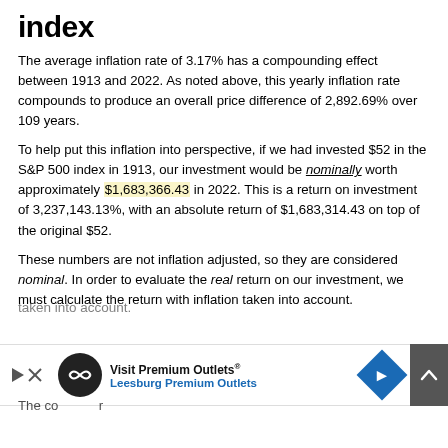index
The average inflation rate of 3.17% has a compounding effect between 1913 and 2022. As noted above, this yearly inflation rate compounds to produce an overall price difference of 2,892.69% over 109 years.
To help put this inflation into perspective, if we had invested $52 in the S&P 500 index in 1913, our investment would be nominally worth approximately $1,683,366.43 in 2022. This is a return on investment of 3,237,143.13%, with an absolute return of $1,683,314.43 on top of the original $52.
These numbers are not inflation adjusted, so they are considered nominal. In order to evaluate the real return on our investment, we must calculate the return with inflation taken into account.
The co[ntinued text obscured by ad]r